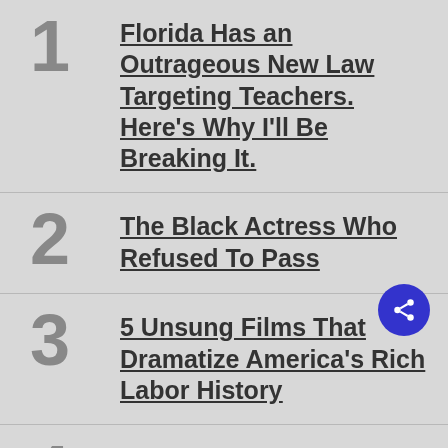1 Florida Has an Outrageous New Law Targeting Teachers. Here’s Why I’ll Be Breaking It.
2 The Black Actress Who Refused To Pass
3 5 Unsung Films That Dramatize America’s Rich Labor History
4 Why Did Document-Shredding Trump Hoard